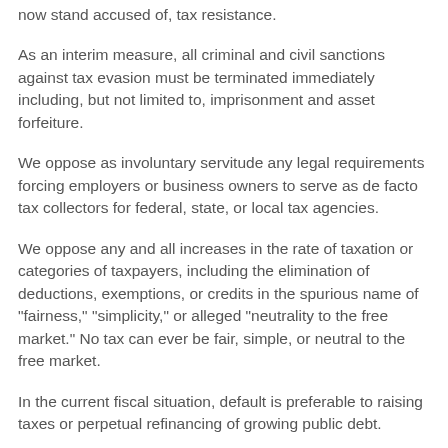now stand accused of, tax resistance.
As an interim measure, all criminal and civil sanctions against tax evasion must be terminated immediately including, but not limited to, imprisonment and asset forfeiture.
We oppose as involuntary servitude any legal requirements forcing employers or business owners to serve as de facto tax collectors for federal, state, or local tax agencies.
We oppose any and all increases in the rate of taxation or categories of taxpayers, including the elimination of deductions, exemptions, or credits in the spurious name of "fairness," "simplicity," or alleged "neutrality to the free market." No tax can ever be fair, simple, or neutral to the free market.
In the current fiscal situation, default is preferable to raising taxes or perpetual refinancing of growing public debt.
4.3 Government Debt
We oppose government entering into debt obligations on